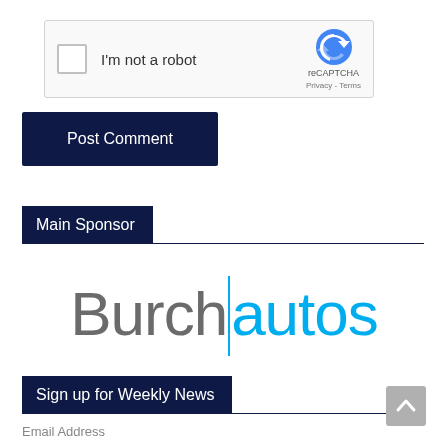[Figure (screenshot): reCAPTCHA widget with checkbox labeled I'm not a robot and reCAPTCHA branding with Privacy and Terms links]
Post Comment
Main Sponsor
[Figure (logo): Burch Autos logo with Burch in gray and autos in cyan blue separated by a vertical cyan line]
Sign up for Weekly News
Email Address